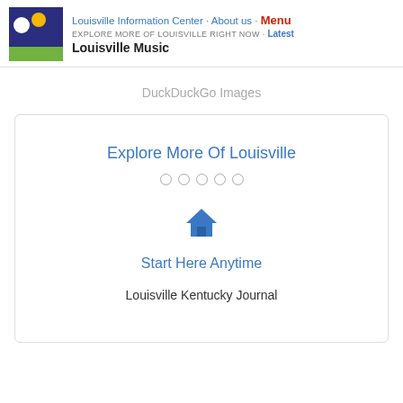Louisville Information Center · About us · Menu
EXPLORE MORE OF LOUISVILLE RIGHT NOW · Latest
Louisville Music
DuckDuckGo Images
Explore More Of Louisville
[Figure (other): House/home icon in blue]
Start Here Anytime
Louisville Kentucky Journal